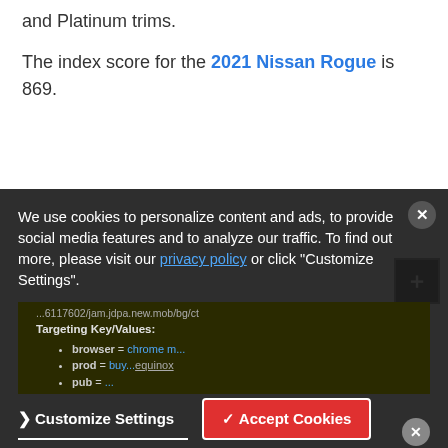and Platinum trims.
The index score for the 2021 Nissan Rogue is 869.
We use cookies to personalize content and ads, to provide social media features and to analyze our traffic. To find out more, please visit our privacy policy or click "Customize Settings".
Targeting Key/Values:
• browser = ...
• prod = buy...
• pub = ...